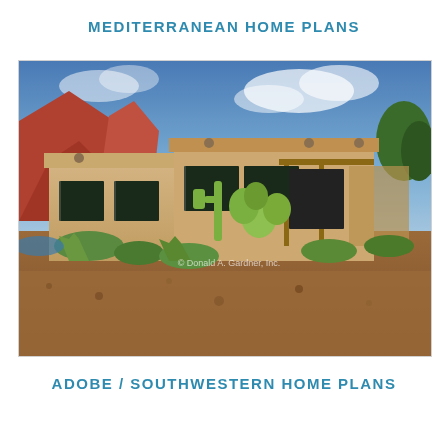MEDITERRANEAN HOME PLANS
[Figure (photo): Exterior rendering of an adobe/southwestern style single-story home with tan stucco walls, flat roof with parapets, dark-framed windows, a covered porch with wood beams, desert landscaping including cacti and succulents, reddish gravel ground cover, red rock formations in the background, and a dramatic blue sky with clouds. Watermark reads: © Donald A. Gardner, Inc.]
ADOBE / SOUTHWESTERN HOME PLANS